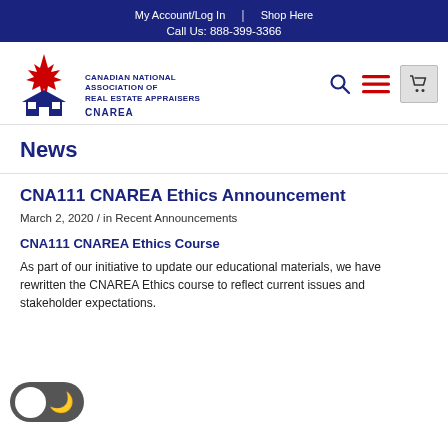My Account/Log In  |  Shop Here
Call Us: 888-399-3366
[Figure (logo): CNAREA logo with Canadian maple leaf and house icon, text: CANADIAN NATIONAL ASSOCIATION OF REAL ESTATE APPRAISERS, CNAREA]
News
CNA111 CNAREA Ethics Announcement
March 2, 2020 /  in Recent Announcements
CNA111 CNAREA Ethics Course
As part of our initiative to update our educational materials, we have rewritten the CNAREA Ethics course to reflect current issues and stakeholder expectations.